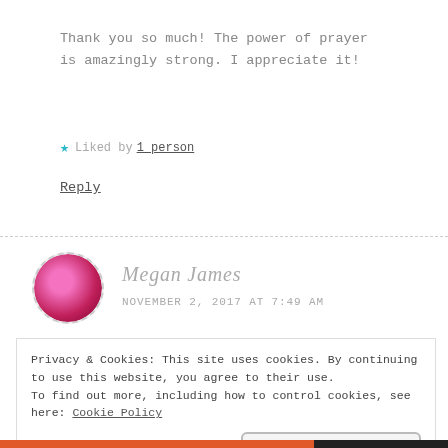Thank you so much! The power of prayer is amazingly strong. I appreciate it!
★ Liked by 1 person
Reply
[Figure (photo): Circular avatar photo of Megan James showing a pink flower, with dashed border]
Megan James
NOVEMBER 2, 2017 AT 7:49 AM
Privacy & Cookies: This site uses cookies. By continuing to use this website, you agree to their use.
To find out more, including how to control cookies, see here: Cookie Policy
Close and accept